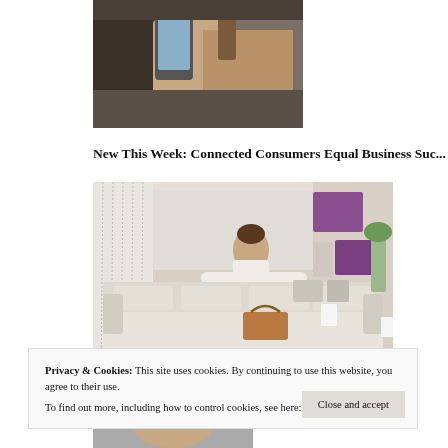[Figure (photo): Close-up of hands holding a mobile phone and a bag/purse, cropped at top]
New This Week: Connected Consumers Equal Business Suc...
[Figure (photo): Woman in a white sweater leaning over a cream leather sofa in a modern furniture showroom with purple accents]
Privacy & Cookies: This site uses cookies. By continuing to use this website, you agree to their use.
To find out more, including how to control cookies, see here: Our Cookie Policy
[Figure (photo): Partial view of a person at bottom of page, cropped]